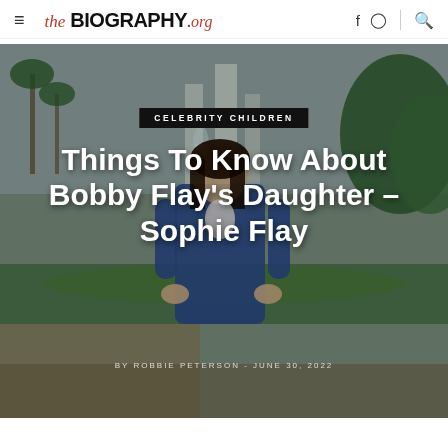the BIOGRAPHY.org
[Figure (photo): Hero image showing a woman in a blue blazer standing in front of a park with a fountain and green foliage, overcast sky]
CELEBRITY CHILDREN
Things To Know About Bobby Flay's Daughter – Sophie Flay
BY ROBBIE PETERSON - JUNE 30, 2022